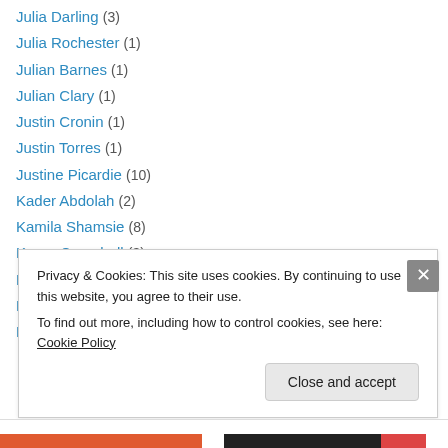Julia Darling (3)
Julia Rochester (1)
Julian Barnes (1)
Julian Clary (1)
Justin Cronin (1)
Justin Torres (1)
Justine Picardie (10)
Kader Abdolah (2)
Kamila Shamsie (8)
Karen Campbell (3)
Karen Lord (1)
Karen McLeod (2)
Karen Thompson Walker (1)
Privacy & Cookies: This site uses cookies. By continuing to use this website, you agree to their use.
To find out more, including how to control cookies, see here: Cookie Policy